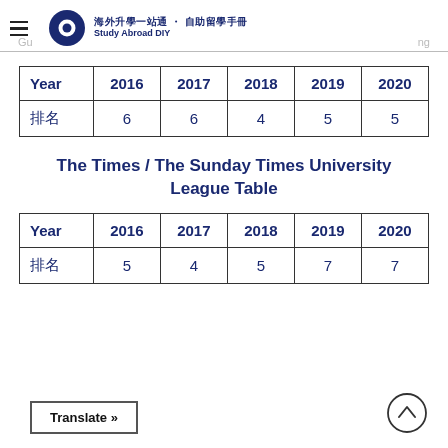海外升學一站通 · 自助留學手冊 Study Abroad DIY
| Year | 2016 | 2017 | 2018 | 2019 | 2020 |
| --- | --- | --- | --- | --- | --- |
| 排名 | 6 | 6 | 4 | 5 | 5 |
The Times / The Sunday Times University League Table
| Year | 2016 | 2017 | 2018 | 2019 | 2020 |
| --- | --- | --- | --- | --- | --- |
| 排名 | 5 | 4 | 5 | 7 | 7 |